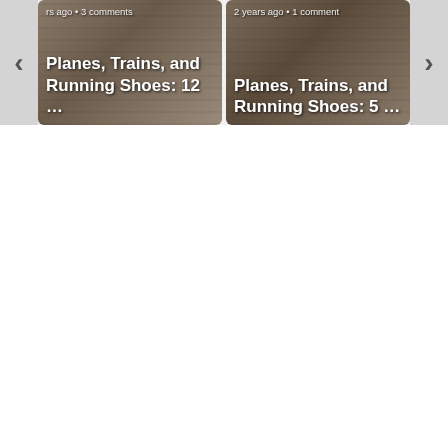[Figure (screenshot): A carousel/slider UI showing two blog post thumbnails side by side with navigation arrows. Left card: 'Planes, Trains, and Running Shoes: 12 ...' with metadata 'rs ago • 3 comments'. Right card: 'Planes, Trains, and Running Shoes: 5 ...' with metadata '2 years ago • 1 comment'. Both cards show a person viewed from behind looking over a stone balcony/ledge in an outdoor setting.]